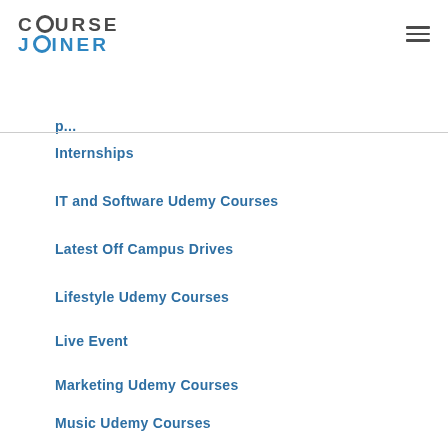COURSE JOINER
Internships
IT and Software Udemy Courses
Latest Off Campus Drives
Lifestyle Udemy Courses
Live Event
Marketing Udemy Courses
Music Udemy Courses
Office Productivity Udemy Courses
Online Jobs
Online C…